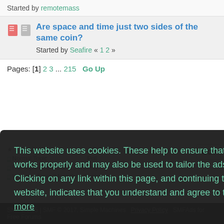Started by remotemass
Are space and time just two sides of the same coin? Started by Seafire « 1 2 »
Pages: [1] 2 3 ... 215   Go Up
This website uses cookies. These help to ensure that our website works properly and may also be used to tailor the ads you see. Clicking on any link within this page, and continuing to use our website, indicates that you understand and agree to this.  Learn more
Got it!
SMF 2.0.15 | SMF © 2017, Simple Machines   Privacy Policy   SMFAds for Free Forums